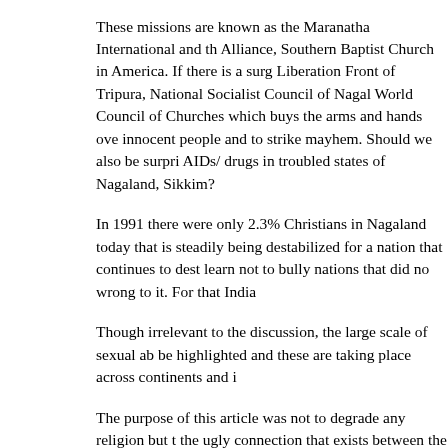These missions are known as the Maranatha International and the Alliance, Southern Baptist Church in America. If there is a surge Liberation Front of Tripura, National Socialist Council of Nagaland, World Council of Churches which buys the arms and hands over innocent people and to strike mayhem. Should we also be surprised AIDs/ drugs in troubled states of Nagaland, Sikkim?
In 1991 there were only 2.3% Christians in Nagaland today that is steadily being destabilized for a nation that continues to destabilize learn not to bully nations that did no wrong to it. For that India...
Though irrelevant to the discussion, the large scale of sexual abuse be highlighted and these are taking place across continents and in...
The purpose of this article was not to degrade any religion but to the ugly connection that exists between the Church and terrorism, what teachings of the religion depict. Sri Lanka's case is just an involved in terrorism throughout the continents of the world.